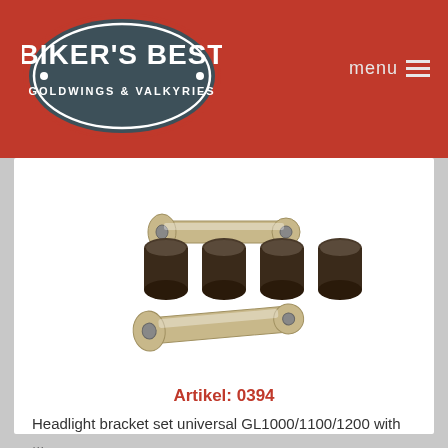[Figure (logo): Biker's Best Goldwings & Valkyries oval logo on red header bar]
[Figure (photo): Headlight bracket set product photo showing two chrome bracket arms and four black rubber cylindrical bushings]
Artikel: 0394
Headlight bracket set universal GL1000/1100/1200 with ...
€49,50
- 1 + Add to Cart